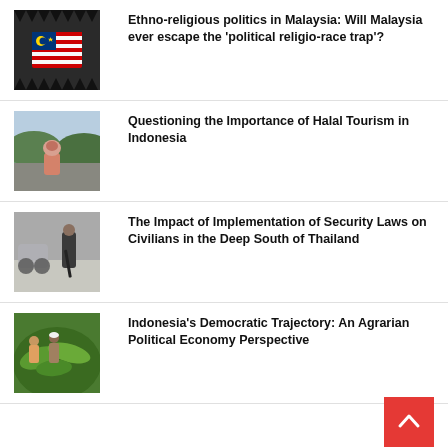[Figure (photo): Malaysian flag on a bear trap, representing the political religio-race trap]
Ethno-religious politics in Malaysia: Will Malaysia ever escape the ‘political religio-race trap’?
[Figure (photo): Woman in hijab standing outdoors in a green landscape, representing Halal Tourism in Indonesia]
Questioning the Importance of Halal Tourism in Indonesia
[Figure (photo): Person with weapon near motorcycles in Thailand's deep south]
The Impact of Implementation of Security Laws on Civilians in the Deep South of Thailand
[Figure (photo): People examining large green leaves, representing Indonesian agrarian political economy]
Indonesia’s Democratic Trajectory: An Agrarian Political Economy Perspective
[Figure (photo): Partial thumbnail image for Kingdom's Edge]
Kingdom’s Edge by Richard Humphries